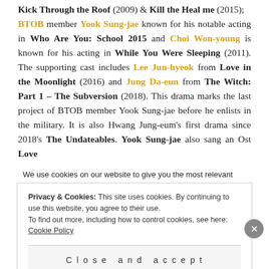Kick Through the Roof (2009) & Kill the Heal me (2015); BTOB member Yook Sung-jae known for his notable acting in Who Are You: School 2015 and Choi Won-young is known for his acting in While You Were Sleeping (2011). The supporting cast includes Lee Jun-hyeok from Love in the Moonlight (2016) and Jung Da-eun from The Witch: Part 1 – The Subversion (2018). This drama marks the last project of BTOB member Yook Sung-jae before he enlists in the military. It is also Hwang Jung-eum's first drama since 2018's The Undateables. Yook Sung-jae also sang an Ost Love
We use cookies on our website to give you the most relevant
Privacy & Cookies: This site uses cookies. By continuing to use this website, you agree to their use. To find out more, including how to control cookies, see here: Cookie Policy
Close and accept